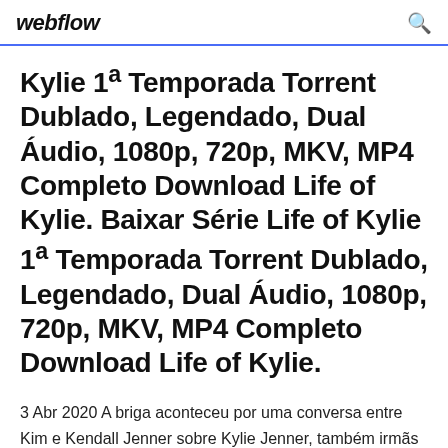webflow
Kylie 1ª Temporada Torrent Dublado, Legendado, Dual Áudio, 1080p, 720p, MKV, MP4 Completo Download Life of Kylie. Baixar Série Life of Kylie 1ª Temporada Torrent Dublado, Legendado, Dual Áudio, 1080p, 720p, MKV, MP4 Completo Download Life of Kylie.
3 Abr 2020 A briga aconteceu por uma conversa entre Kim e Kendall Jenner sobre Kylie Jenner, também irmãs das duas, que não pôde participar de um  Get Lifetime for $39.99.